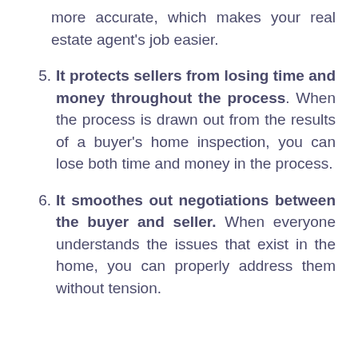more accurate, which makes your real estate agent's job easier.
5. It protects sellers from losing time and money throughout the process. When the process is drawn out from the results of a buyer's home inspection, you can lose both time and money in the process.
6. It smoothes out negotiations between the buyer and seller. When everyone understands the issues that exist in the home, you can properly address them without tension.